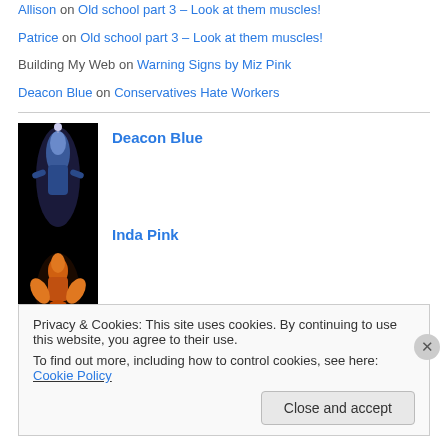Allison on Old school part 3 – Look at them muscles!
Patrice on Old school part 3 – Look at them muscles!
Building My Web on Warning Signs by Miz Pink
Deacon Blue on Conservatives Hate Workers
[Figure (photo): User avatar image showing two figures, one with blue/silver tones and one with orange/gold tones on black background]
Deacon Blue
Inda Pink
Recent Posts
New Location: Go On, Get On Over There!
Privacy & Cookies: This site uses cookies. By continuing to use this website, you agree to their use.
To find out more, including how to control cookies, see here: Cookie Policy
Close and accept